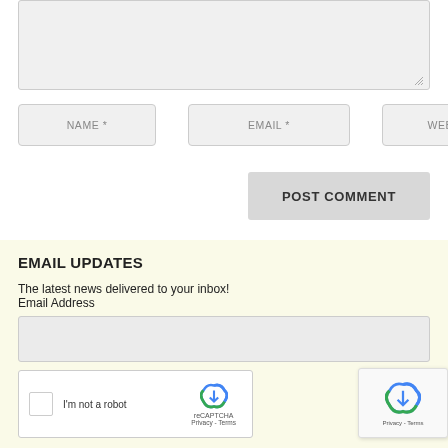[Figure (screenshot): Comment form textarea input box (grey, empty, with resize handle)]
NAME *
EMAIL *
WEBSITE
POST COMMENT
EMAIL UPDATES
The latest news delivered to your inbox!
Email Address
[Figure (screenshot): Email address input field (grey, empty)]
[Figure (screenshot): reCAPTCHA widget with checkbox and 'I'm not a robot' text, and a floating reCAPTCHA popup showing Privacy - Terms]